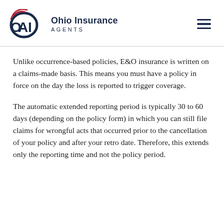[Figure (logo): Ohio Insurance Agents (OIA) logo with circular swoosh design in navy and red, followed by company name]
Unlike occurrence-based policies, E&O insurance is written on a claims-made basis. This means you must have a policy in force on the day the loss is reported to trigger coverage.
The automatic extended reporting period is typically 30 to 60 days (depending on the policy form) in which you can still file claims for wrongful acts that occurred prior to the cancellation of your policy and after your retro date. Therefore, this extends only the reporting time and not the policy period.